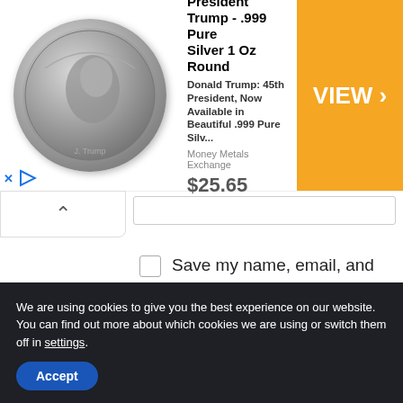[Figure (screenshot): Advertisement banner: President Trump .999 Pure Silver 1 Oz Round coin ad with price $25.65 and VIEW button, from Money Metals Exchange]
Save my name, email, and website in this browser for the next time I comment.
Post Comment
We are using cookies to give you the best experience on our website. You can find out more about which cookies we are using or switch them off in settings.
Accept